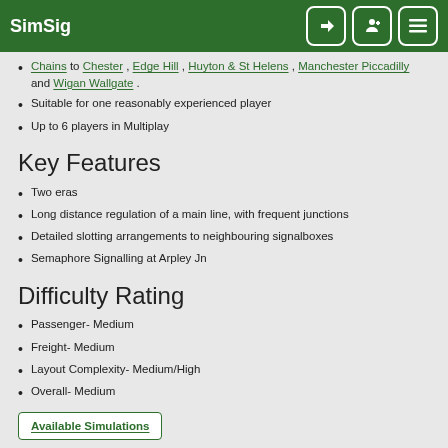SimSig
Chains to Chester , Edge Hill , Huyton & St Helens , Manchester Piccadilly and Wigan Wallgate .
Suitable for one reasonably experienced player
Up to 6 players in Multiplay
Key Features
Two eras
Long distance regulation of a main line, with frequent junctions
Detailed slotting arrangements to neighbouring signalboxes
Semaphore Signalling at Arpley Jn
Difficulty Rating
Passenger- Medium
Freight- Medium
Layout Complexity- Medium/High
Overall- Medium
Available Simulations